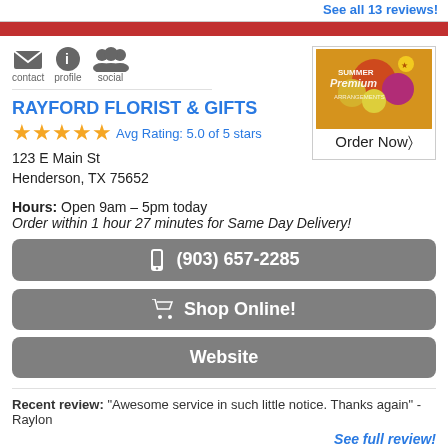See all 13 reviews!
RAYFORD FLORIST & GIFTS
Avg Rating: 5.0 of 5 stars
123 E Main St
Henderson, TX 75652
Hours: Open 9am – 5pm today
Order within 1 hour 27 minutes for Same Day Delivery!
(903) 657-2285
Shop Online!
Website
[Figure (photo): Summer Premium floral arrangement advertisement with Order Now text]
Recent review: "Awesome service in such little notice. Thanks again" - Raylon
See full review!